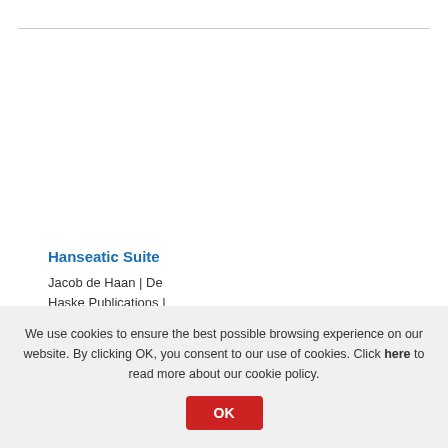Hanseatic Suite
Jacob de Haan | De Haske Publications | Set I Concert Band
We use cookies to ensure the best possible browsing experience on our website. By clicking OK, you consent to our use of cookies. Click here to read more about our cookie policy.
OK